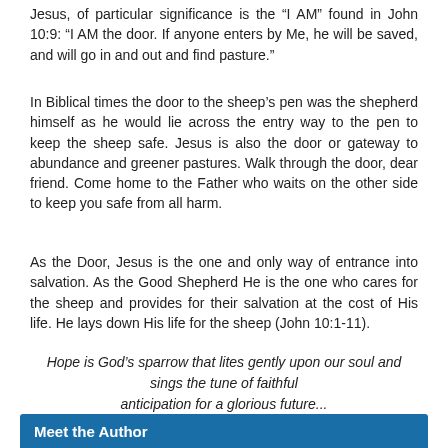Jesus, of particular significance is the “I AM” found in John 10:9: “I AM the door. If anyone enters by Me, he will be saved, and will go in and out and find pasture.”
In Biblical times the door to the sheep’s pen was the shepherd himself as he would lie across the entry way to the pen to keep the sheep safe. Jesus is also the door or gateway to abundance and greener pastures. Walk through the door, dear friend. Come home to the Father who waits on the other side to keep you safe from all harm.
As the Door, Jesus is the one and only way of entrance into salvation. As the Good Shepherd He is the one who cares for the sheep and provides for their salvation at the cost of His life. He lays down His life for the sheep (John 10:1-11).
Hope is God’s sparrow that lites gently upon our soul and sings the tune of faithful anticipation for a glorious future...
Meet the Author